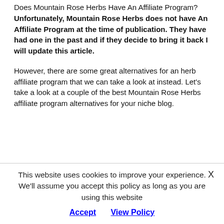Does Mountain Rose Herbs Have An Affiliate Program? Unfortunately, Mountain Rose Herbs does not have An Affiliate Program at the time of publication. They have had one in the past and if they decide to bring it back I will update this article.
However, there are some great alternatives for an herb affiliate program that we can take a look at instead. Let's take a look at a couple of the best Mountain Rose Herbs affiliate program alternatives for your niche blog.
This website uses cookies to improve your experience. We'll assume you accept this policy as long as you are using this website Accept  View Policy